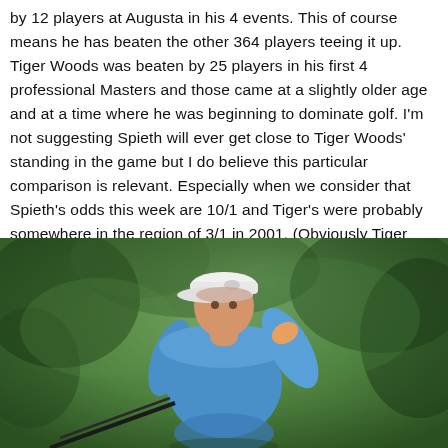by 12 players at Augusta in his 4 events. This of course means he has beaten the other 364 players teeing it up. Tiger Woods was beaten by 25 players in his first 4 professional Masters and those came at a slightly older age and at a time where he was beginning to dominate golf. I'm not suggesting Spieth will ever get close to Tiger Woods' standing in the game but I do believe this particular comparison is relevant. Especially when we consider that Spieth's odds this week are 10/1 and Tiger's were probably somewhere in the region of 3/1 in 2001. (Obviously Tiger had won the previous 3 majors which will have had a massive effect on his price too!).
[Figure (photo): A golfer wearing a blue long-sleeve shirt and white Under Armour cap, mid-swing with a golf club, photographed against a blurred green outdoor background.]